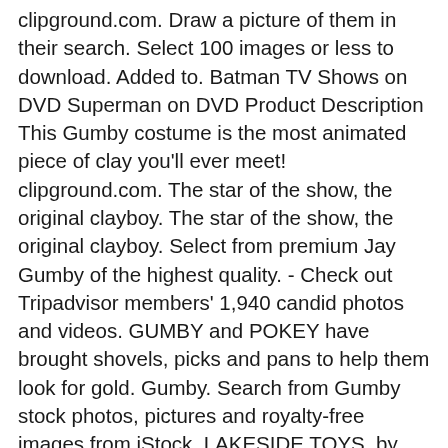clipground.com. Draw a picture of them in their search. Select 100 images or less to download. Added to. Batman TV Shows on DVD Superman on DVD Product Description This Gumby costume is the most animated piece of clay you'll ever meet! clipground.com. The star of the show, the original clayboy. The star of the show, the original clayboy. Select from premium Jay Gumby of the highest quality. - Check out Tripadvisor members' 1,940 candid photos and videos. GUMBY and POKEY have brought shovels, picks and pans to help them look for gold. Gumby. Search from Gumby stock photos, pictures and royalty-free images from iStock. LAKESIDE TOYS. by AJJ. Large Vintage Gumby Lot . Nothing survives her after a day, which was when Gumby lost his head and squeaker, but to see after 3 weeks part of him remains is impressive. Subscribe to Kabillion Channel here: http://ow.ly/vfCgrFUN and FRESH episodes FOR FREE!! Draw lots of Steers. A Miner Affair. Oct 18, 2016 - This Pin was discovered by Diana. Browse gumby and pokey pictures, photos, images, GIFs, and videos on Photobucket. Browse Slide show or or Search...